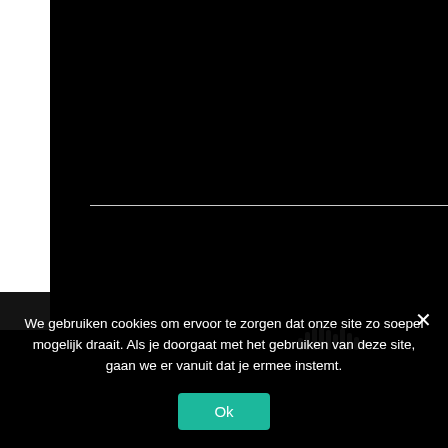[Figure (screenshot): Black background web page screenshot with a white vertical stripe on the left side and a horizontal white divider line. A small SoundCloud-like waveform icon is visible at lower right of the dark area.]
We gebruiken cookies om ervoor te zorgen dat onze site zo soepel mogelijk draait. Als je doorgaat met het gebruiken van deze site, gaan we er vanuit dat je ermee instemt.
Ok